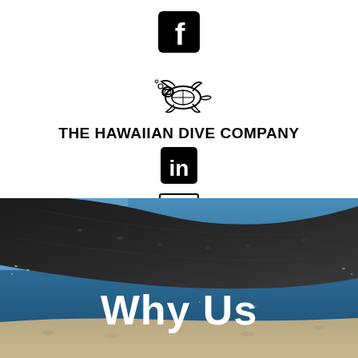[Figure (logo): Facebook icon — black rounded square with white 'f' letter]
[Figure (logo): The Hawaiian Dive Company logo — illustrated sea turtle with diving mask above company name text]
THE HAWAIIAN DIVE COMPANY
[Figure (logo): LinkedIn icon — black rounded square with white 'in' letters]
[Figure (logo): Menu/hamburger icon — black square outline with three horizontal lines]
[Figure (photo): Underwater photograph showing the underside of a large manta ray swimming over sandy ocean floor with blue water background]
Why Us